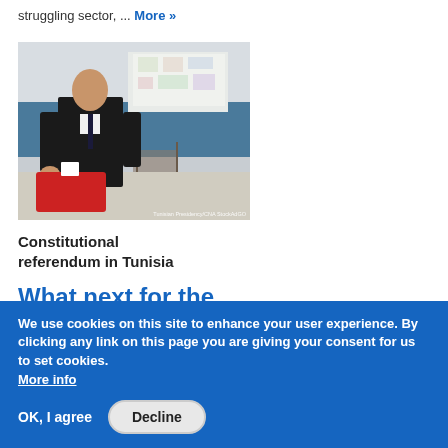struggling sector, ... More »
[Figure (photo): A man in a dark suit casting a ballot into a red ballot box at a polling station.]
Constitutional referendum in Tunisia
What next for the birthplace of the Arab Spring?
27.07.2022
We use cookies on this site to enhance your user experience. By clicking any link on this page you are giving your consent for us to set cookies. More info
OK, I agree
Decline